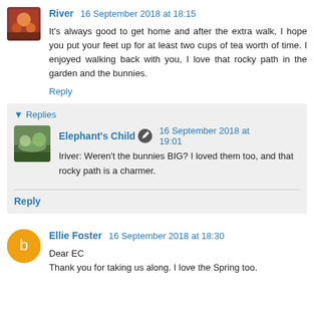River 16 September 2018 at 18:15
It's always good to get home and after the extra walk, I hope you put your feet up for at least two cups of tea worth of time. I enjoyed walking back with you, I love that rocky path in the garden and the bunnies.
Reply
Replies
Elephant's Child 16 September 2018 at 19:01
Iriver: Weren't the bunnies BIG? I loved them too, and that rocky path is a charmer.
Reply
Ellie Foster 16 September 2018 at 18:30
Dear EC
Thank you for taking us along. I love the Spring too.